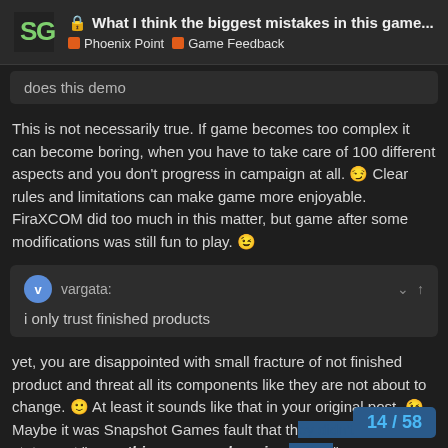What I think the biggest mistakes in this game... | Phoenix Point | Game Feedback
does this demo
This is not necessarily true. If game becomes too complex it can become boring, when you have to take care of 100 different aspects and you don't progress in campaign at all. 😏 Clear rules and limitations can make game more enjoyable. FiraXCOM did too much in this matter, but game after some modifications was still fun to play. 😉
vargata: i only trust finished products
yet, you are disappointed with small fracture of not finished product and threat all its components like they are not about to change. 🙂 At least it sounds like that in your original post. 😉 Maybe it was Snapshot Games fault that th... statement "everything you see here is n...
14 / 58